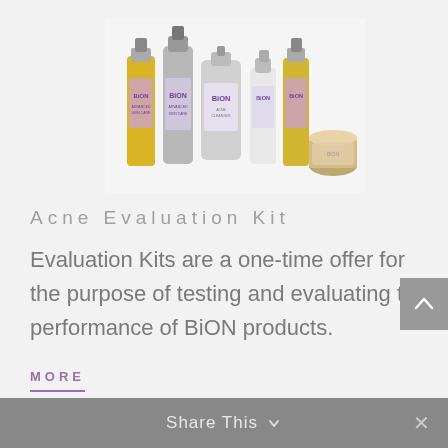[Figure (photo): Collection of BiON skincare product bottles and containers including yellow/amber bottles with pumps, silver/white bottles, and a small jar, arranged in a group on a light background]
Acne Evaluation Kit
Evaluation Kits are a one-time offer for the purpose of testing and evaluating the performance of BiON products.
MORE
Share This ×